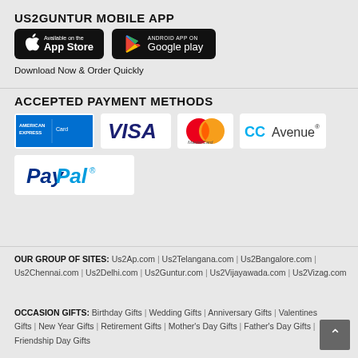US2GUNTUR MOBILE APP
[Figure (screenshot): App Store and Google Play download buttons for US2GUNTUR mobile app]
Download Now & Order Quickly
ACCEPTED PAYMENT METHODS
[Figure (logo): Payment method logos: American Express, VISA, MasterCard, CC Avenue, PayPal]
OUR GROUP OF SITES: Us2Ap.com | Us2Telangana.com | Us2Bangalore.com | Us2Chennai.com | Us2Delhi.com | Us2Guntur.com | Us2Vijayawada.com | Us2Vizag.com
OCCASION GIFTS: Birthday Gifts | Wedding Gifts | Anniversary Gifts | Valentines Gifts | New Year Gifts | Retirement Gifts | Mother's Day Gifts | Father's Day Gifts | Friendship Day Gifts